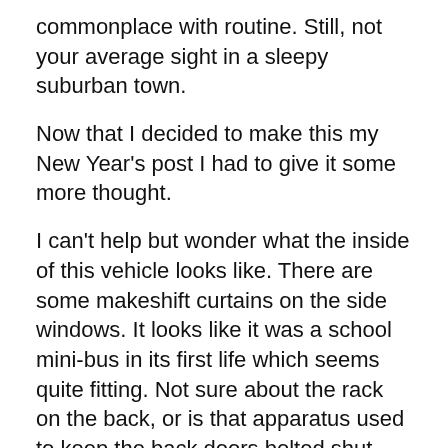commonplace with routine. Still, not your average sight in a sleepy suburban town.
Now that I decided to make this my New Year's post I had to give it some more thought.
I can't help but wonder what the inside of this vehicle looks like. There are some makeshift curtains on the side windows. It looks like it was a school mini-bus in its first life which seems quite fitting. Not sure about the rack on the back, or is that apparatus used to keep the back doors bolted shut, like once you get inside you are not leaving so fast? Hmm, creepy.
What goes on in there? Is it piled high with German literature? What sort of weird activities could take place while driving around in a Kafka van? Do the occupants speak in run on sentences? Is there a sense of